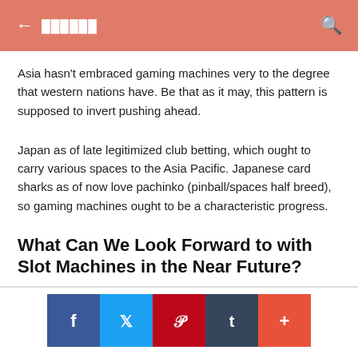← ▮▮▮▮▮▮ 🔍
Asia hasn't embraced gaming machines very to the degree that western nations have. Be that as it may, this pattern is supposed to invert pushing ahead.
Japan as of late legitimized club betting, which ought to carry various spaces to the Asia Pacific. Japanese card sharks as of now love pachinko (pinball/spaces half breed), so gaming machines ought to be a characteristic progress.
What Can We Look Forward to with Slot Machines in the Near Future?
[Figure (infographic): Social sharing buttons: Facebook (blue), Twitter (light blue), Pinterest (red), Tumblr (dark blue-grey), More/Plus (orange-red)]